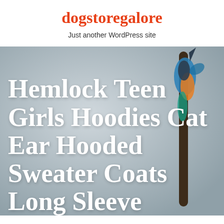dogstoregalore
Just another WordPress site
[Figure (photo): A bird (kingfisher) perched on a thin stick or reed against a grey background, with colorful blue, orange, and dark feathers, beak pointing upward. Large white bold text overlaid reads: Hemlock Teen Girls Hoodies Cat Ear Hooded Sweater Coats Long Sleeve]
Hemlock Teen Girls Hoodies Cat Ear Hooded Sweater Coats Long Sleeve